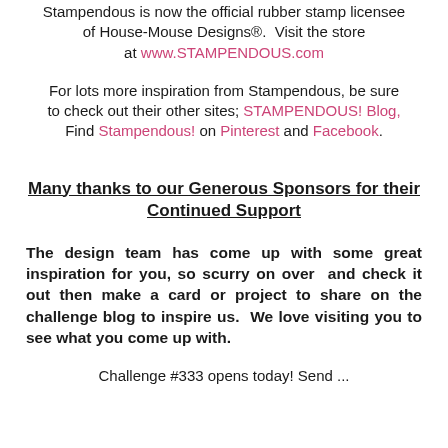Stampendous is now the official rubber stamp licensee of House-Mouse Designs®.  Visit the store at www.STAMPENDOUS.com
For lots more inspiration from Stampendous, be sure to check out their other sites; STAMPENDOUS! Blog, Find Stampendous! on Pinterest and Facebook.
Many thanks to our Generous Sponsors for their Continued Support
The design team has come up with some great inspiration for you, so scurry on over  and check it out then make a card or project to share on the challenge blog to inspire us.  We love visiting you to see what you come up with.
Challenge #333 opens today! Send ...